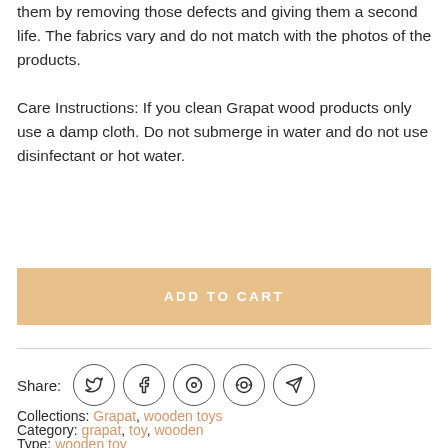them by removing those defects and giving them a second life. The fabrics vary and do not match with the photos of the products.
Care Instructions: If you clean Grapat wood products only use a damp cloth. Do not submerge in water and do not use disinfectant or hot water.
ADD TO CART
Share:
Collections: Grapat, wooden toys
Category: grapat, toy, wooden
Type: wooden toy